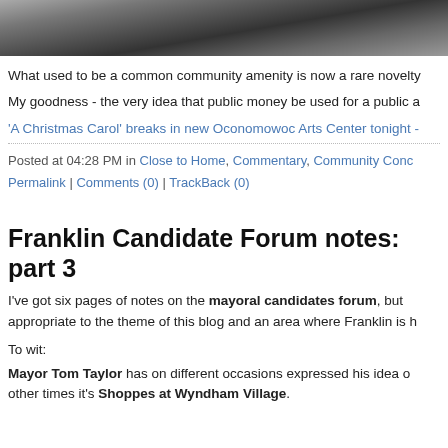[Figure (photo): Dark photograph showing what appears to be instruments or objects, partial view at top of page]
What used to be a common community amenity is now a rare novelty
My goodness - the very idea that public money be used for a public a
'A Christmas Carol' breaks in new Oconomowoc Arts Center tonight -
Posted at 04:28 PM in Close to Home, Commentary, Community Conc
Permalink | Comments (0) | TrackBack (0)
Franklin Candidate Forum notes: part 3
I've got six pages of notes on the mayoral candidates forum, but appropriate to the theme of this blog and an area where Franklin is h
To wit:
Mayor Tom Taylor has on different occasions expressed his idea o other times it's Shoppes at Wyndham Village.